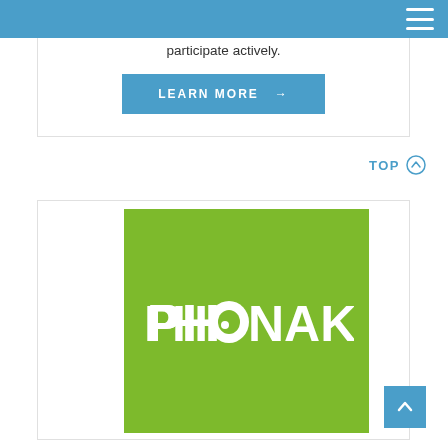participate actively.
LEARN MORE →
TOP ⊕
[Figure (logo): Phonak logo on green background — white text reading PHONAK with a circular hearing-aid icon replacing the letter O]